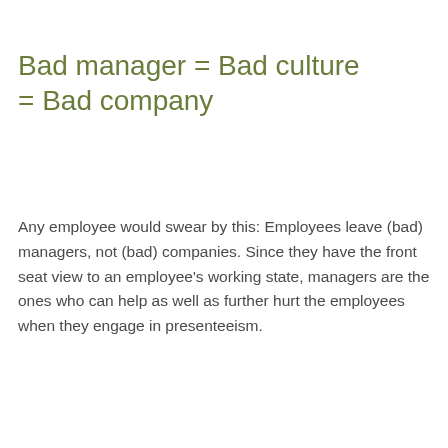Bad manager = Bad culture = Bad company
Any employee would swear by this: Employees leave (bad) managers, not (bad) companies. Since they have the front seat view to an employee's working state, managers are the ones who can help as well as further hurt the employees when they engage in presenteeism.
Managers should be vigilant about this since not all somatic complaints are visible and apparent. They can offer targeted support to employees who feel unwell by giving positive feedback about their achievements. They can also instruct an employee to stop working if it becomes evident that they are engaging in presenteeism.
Managers can also highlight that presenteeism is